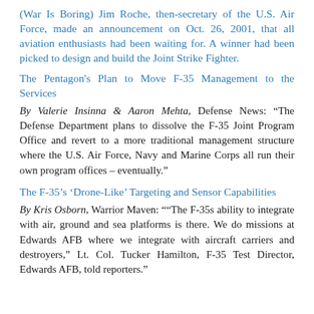(War Is Boring) Jim Roche, then-secretary of the U.S. Air Force, made an announcement on Oct. 26, 2001, that all aviation enthusiasts had been waiting for. A winner had been picked to design and build the Joint Strike Fighter.
The Pentagon's Plan to Move F-35 Management to the Services
By Valerie Insinna & Aaron Mehta, Defense News: “The Defense Department plans to dissolve the F-35 Joint Program Office and revert to a more traditional management structure where the U.S. Air Force, Navy and Marine Corps all run their own program offices – eventually.”
The F-35’s ‘Drone-Like’ Targeting and Sensor Capabilities
By Kris Osborn, Warrior Maven: ““The F-35s ability to integrate with air, ground and sea platforms is there. We do missions at Edwards AFB where we integrate with aircraft carriers and destroyers,” Lt. Col. Tucker Hamilton, F-35 Test Director, Edwards AFB, told reporters.”